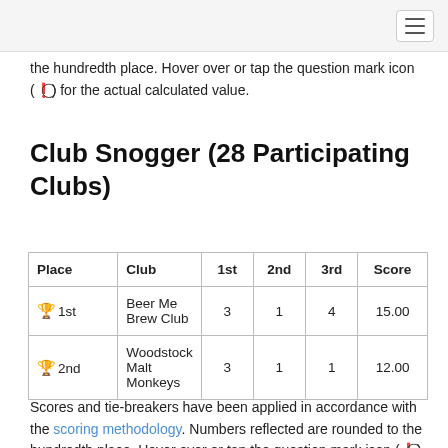the hundredth place. Hover over or tap the question mark icon (?) for the actual calculated value.
Club Snogger (28 Participating Clubs)
| Place | Club | 1st | 2nd | 3rd | Score |
| --- | --- | --- | --- | --- | --- |
| 🏆 1st | Beer Me Brew Club | 3 | 1 | 4 | 15.00 |
| 🥈 2nd | Woodstock Malt Monkeys | 3 | 1 | 1 | 12.00 |
Scores and tie-breakers have been applied in accordance with the scoring methodology. Numbers reflected are rounded to the hundredth place. Hover over or tap the question mark icon (?) for the actual calculated value.